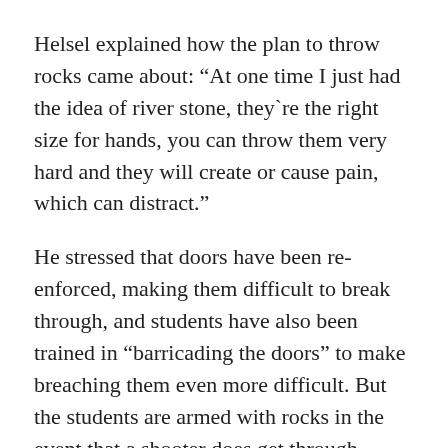Helsel explained how the plan to throw rocks came about: “At one time I just had the idea of river stone, they`re the right size for hands, you can throw them very hard and they will create or cause pain, which can distract.”
He stressed that doors have been re-enforced, making them difficult to break through, and students have also been trained in “barricading the doors” to make breaching them even more difficult. But the students are armed with rocks in the event that a shooter does get through.
http://www.breitbart.com/big-government/2018/03/23/school-district-arms-students-